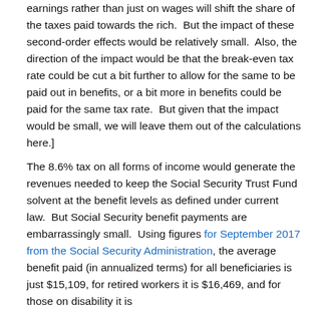earnings rather than just on wages will shift the share of the taxes paid towards the rich.  But the impact of these second-order effects would be relatively small.  Also, the direction of the impact would be that the break-even tax rate could be cut a bit further to allow for the same to be paid out in benefits, or a bit more in benefits could be paid for the same tax rate.  But given that the impact would be small, we will leave them out of the calculations here.]
The 8.6% tax on all forms of income would generate the revenues needed to keep the Social Security Trust Fund solvent at the benefit levels as defined under current law.  But Social Security benefit payments are embarrassingly small.  Using figures for September 2017 from the Social Security Administration, the average benefit paid (in annualized terms) for all beneficiaries is just $15,109, for retired workers it is $16,469, and for those on disability it is